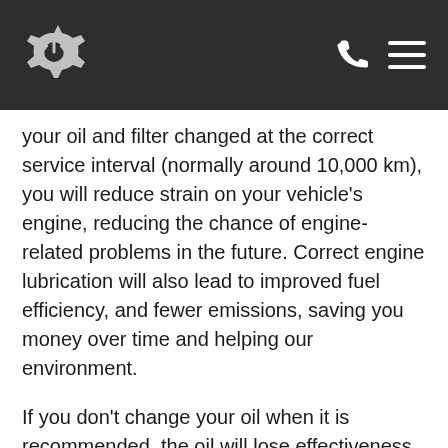[Navigation header with logo, phone icon, and menu icon]
your oil and filter changed at the correct service interval (normally around 10,000 km), you will reduce strain on your vehicle's engine, reducing the chance of engine-related problems in the future. Correct engine lubrication will also lead to improved fuel efficiency, and fewer emissions, saving you money over time and helping our environment.
If you don't change your oil when it is recommended, the oil will lose effectiveness, causing engine parts to rub against each other and create excess heat. This can cause overheating of the engine which will quickly wear down its metal components.
Oil sludge can build up in your engine over time. Oil sludge can stick to your engine, clogging up paths. This